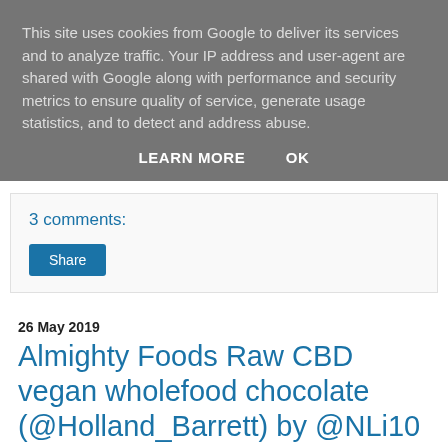This site uses cookies from Google to deliver its services and to analyze traffic. Your IP address and user-agent are shared with Google along with performance and security metrics to ensure quality of service, generate usage statistics, and to detect and address abuse.
LEARN MORE    OK
3 comments:
Share
26 May 2019
Almighty Foods Raw CBD vegan wholefood chocolate (@Holland_Barrett) by @NLi10
I'm often in town with a general panic that I don't have anything interesting to write about for this weeks review. Luckily we have about 4 Holland & Barrett in Birmingham